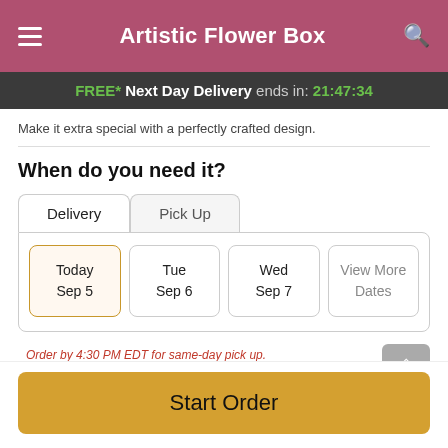Artistic Flower Box
FREE* Next Day Delivery ends in: 21:47:34
Make it extra special with a perfectly crafted design.
When do you need it?
Delivery | Pick Up
Today Sep 5 | Tue Sep 6 | Wed Sep 7 | View More Dates
Order by 4:30 PM EDT for same-day pick up.
Start Order